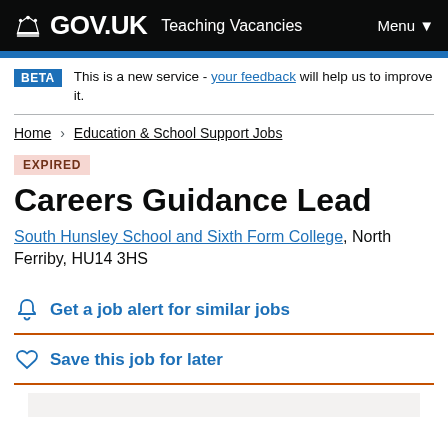GOV.UK Teaching Vacancies Menu
BETA This is a new service - your feedback will help us to improve it.
Home > Education & School Support Jobs
EXPIRED
Careers Guidance Lead
South Hunsley School and Sixth Form College, North Ferriby, HU14 3HS
Get a job alert for similar jobs
Save this job for later